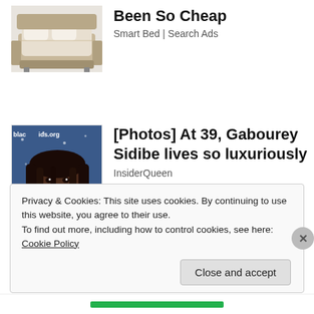[Figure (photo): Image of a smart/luxury bed from an advertisement]
Been So Cheap
Smart Bed | Search Ads
[Figure (photo): Photo of Gabourey Sidibe at an event, with text overlays reading 'blackaids.org', 'LEAD', and 'b']
[Photos] At 39, Gabourey Sidibe lives so luxuriously
InsiderQueen
Share this:
Privacy & Cookies: This site uses cookies. By continuing to use this website, you agree to their use.
To find out more, including how to control cookies, see here: Cookie Policy